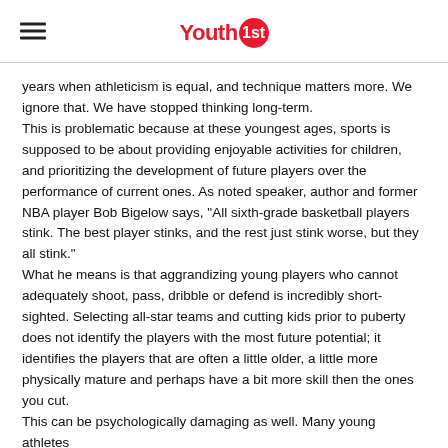Youth 1st
years when athleticism is equal, and technique matters more. We ignore that. We have stopped thinking long-term.
This is problematic because at these youngest ages, sports is supposed to be about providing enjoyable activities for children, and prioritizing the development of future players over the performance of current ones. As noted speaker, author and former NBA player Bob Bigelow says, "All sixth-grade basketball players stink. The best player stinks, and the rest just stink worse, but they all stink."
What he means is that aggrandizing young players who cannot adequately shoot, pass, dribble or defend is incredibly short-sighted. Selecting all-star teams and cutting kids prior to puberty does not identify the players with the most future potential; it identifies the players that are often a little older, a little more physically mature and perhaps have a bit more skill then the ones you cut.
This can be psychologically damaging as well. Many young athletes